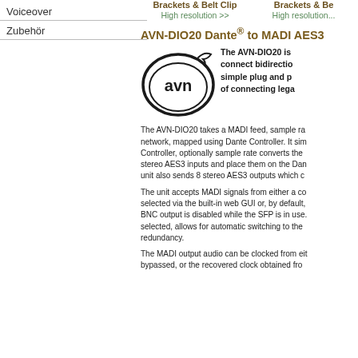Voiceover
Zubehör
Brackets & Belt Clip
High resolution >>
Brackets & Be...
High resolution...
AVN-DIO20 Dante® to MADI AES3...
[Figure (logo): AVN logo — oval with stylized 'avn' text inside]
The AVN-DIO20 is ... connect bidirectio... simple plug and p... of connecting lega...
The AVN-DIO20 takes a MADI feed, sample ra... network, mapped using Dante Controller. It sim... Controller, optionally sample rate converts the... stereo AES3 inputs and place them on the Dan... unit also sends 8 stereo AES3 outputs which c...
The unit accepts MADI signals from either a co... selected via the built-in web GUI or, by default,... BNC output is disabled while the SFP is in use.... selected, allows for automatic switching to the... redundancy.
The MADI output audio can be clocked from eit... bypassed, or the recovered clock obtained fro...